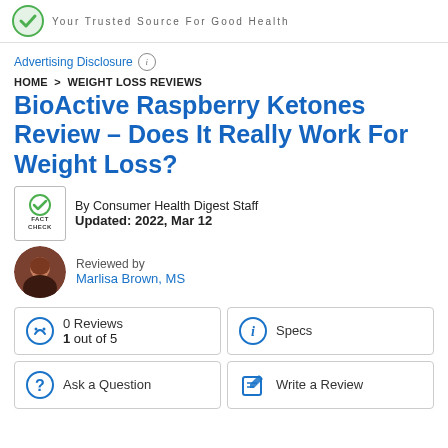Your Trusted Source For Good Health
Advertising Disclosure
HOME > WEIGHT LOSS REVIEWS
BioActive Raspberry Ketones Review – Does It Really Work For Weight Loss?
By Consumer Health Digest Staff
Updated: 2022, Mar 12
Reviewed by
Marlisa Brown, MS
0 Reviews
1 out of 5
Specs
Ask a Question
Write a Review